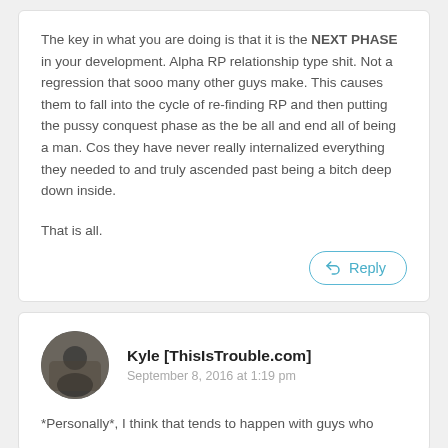The key in what you are doing is that it is the NEXT PHASE in your development. Alpha RP relationship type shit. Not a regression that sooo many other guys make. This causes them to fall into the cycle of re-finding RP and then putting the pussy conquest phase as the be all and end all of being a man. Cos they have never really internalized everything they needed to and truly ascended past being a bitch deep down inside.

That is all.
Kyle [ThisIsTrouble.com]
September 8, 2016 at 1:19 pm
*Personally*, I think that tends to happen with guys who